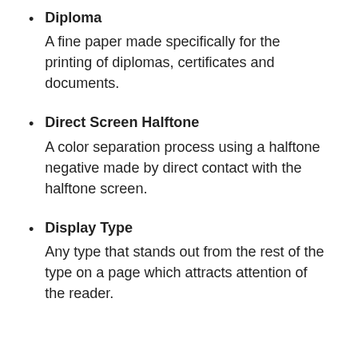Diploma
A fine paper made specifically for the printing of diplomas, certificates and documents.
Direct Screen Halftone
A color separation process using a halftone negative made by direct contact with the halftone screen.
Display Type
Any type that stands out from the rest of the type on a page which attracts attention of the reader.